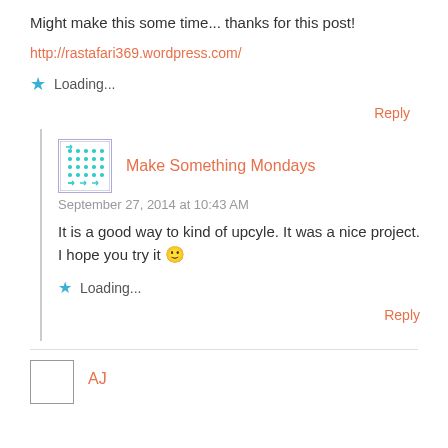Might make this some time... thanks for this post!
http://rastafari369.wordpress.com/
Loading...
Reply
Make Something Mondays
September 27, 2014 at 10:43 AM
It is a good way to kind of upcyle. It was a nice project. I hope you try it 🙂
Loading...
Reply
AJ